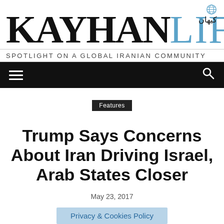KAYHAN LIFE — SPOTLIGHT ON A GLOBAL IRANIAN COMMUNITY
[Figure (logo): Kayhan Life masthead logo with Persian script and globe icon]
Features
Trump Says Concerns About Iran Driving Israel, Arab States Closer
May 23, 2017
Privacy & Cookies Policy